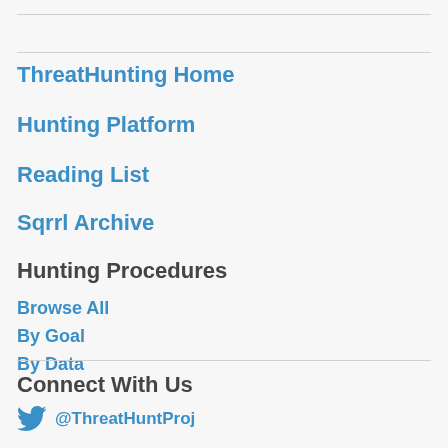ThreatHunting Home
Hunting Platform
Reading List
Sqrrl Archive
Hunting Procedures
Browse All
By Goal
By Data
Connect With Us
@ThreatHuntProj